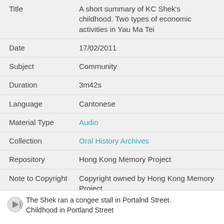| Field | Value |
| --- | --- |
| Title | A short summary of KC Shek's childhood. Two types of economic activities in Yau Ma Tei |
| Date | 17/02/2011 |
| Subject | Community |
| Duration | 3m42s |
| Language | Cantonese |
| Material Type | Audio |
| Collection | Oral History Archives |
| Repository | Hong Kong Memory Project |
| Note to Copyright | Copyright owned by Hong Kong Memory Project |
| Accession No. | YMT-SKC-SEG-001 |
The Shek ran a congee stall in Portalnd Street. Childhood in Portland Street